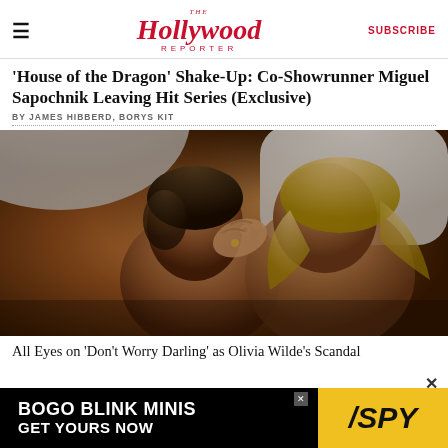The Hollywood Reporter | SUBSCRIBE
'House of the Dragon' Shake-Up: Co-Showrunner Miguel Sapochnik Leaving Hit Series (Exclusive)
BY JAMES HIBBERD, BORYS KIT
[Figure (photo): Two actors lying in bed in an intimate scene from 'Don't Worry Darling', warm amber/golden lighting, bedroom setting with white pillows]
All Eyes on 'Don't Worry Darling' as Olivia Wilde's Scandal-Plagued Film Could Dominate Festival Attention
[Figure (other): Advertisement: BOGO BLINK MINIS GET YOURS NOW - SPY logo on yellow background]